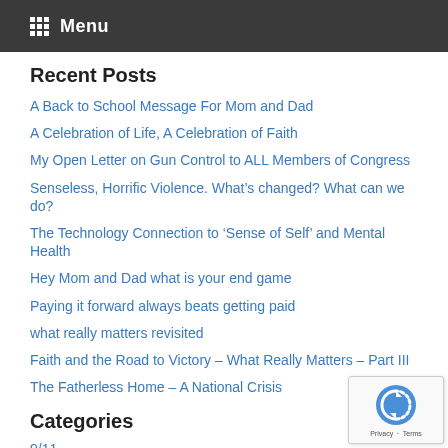Menu
Recent Posts
A Back to School Message For Mom and Dad
A Celebration of Life, A Celebration of Faith
My Open Letter on Gun Control to ALL Members of Congress
Senseless, Horrific Violence. What's changed? What can we do?
The Technology Connection to ‘Sense of Self’ and Mental Health
Hey Mom and Dad what is your end game
Paying it forward always beats getting paid
what really matters revisited
Faith and the Road to Victory – What Really Matters – Part III
The Fatherless Home – A National Crisis
Categories
9/11